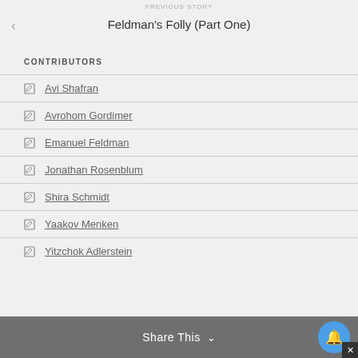PREVIOUS STORY
Feldman's Folly (Part One)
CONTRIBUTORS
Avi Shafran
Avrohom Gordimer
Emanuel Feldman
Jonathan Rosenblum
Shira Schmidt
Yaakov Menken
Yitzchok Adlerstein
Share This ∨